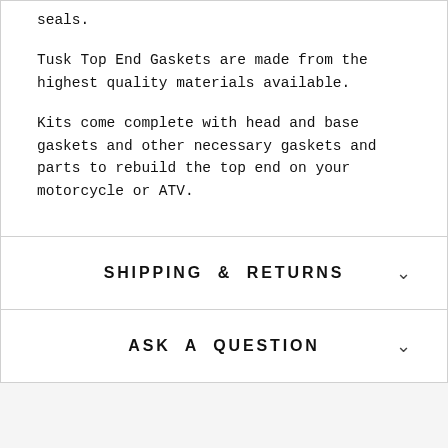seals.
Tusk Top End Gaskets are made from the highest quality materials available.
Kits come complete with head and base gaskets and other necessary gaskets and parts to rebuild the top end on your motorcycle or ATV.
SHIPPING & RETURNS
ASK A QUESTION
[Figure (illustration): Partial circular icon/logo at the bottom of the page]